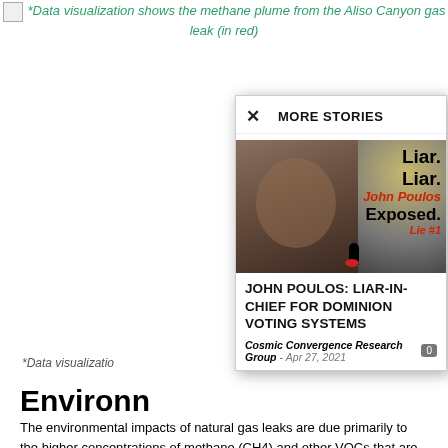*Data visualization shows the methane plume from the Aliso Canyon gas leak (in red)
[Figure (screenshot): A modal overlay showing a 'More Stories' panel with an article titled 'John Poulos: Liar-in-Chief for Dominion Voting Systems' from Cosmic Convergence Research Group, Apr 27, 2021, with a thumbnail image showing text overlays 'Liar. Liar. John Poulos Exposed. Lie #1']
*Data visualizatio
Environm
The environmental impacts of natural gas leaks are due primarily to the higher concentrations of methane (CH4) and other VOCs that are associated...